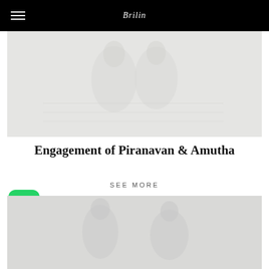Brilin
[Figure (photo): Light grey hero image showing a faint couple or portrait silhouette, very faded/washed out]
Engagement of Piranavan & Amutha
SEE MORE
[Figure (logo): WhatsApp app icon — green rounded square with white phone/chat bubble logo]
[Figure (photo): Light grey bottom image showing faint silhouette figures, very faded]